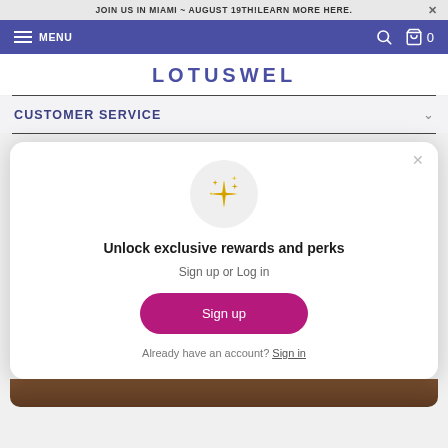JOIN US IN MIAMI ~ AUGUST 19TH! LEARN MORE HERE.
MENU
LOTUSWEL
CUSTOMER SERVICE
[Figure (screenshot): Rewards popup modal with sparkle icon, heading 'Unlock exclusive rewards and perks', subtext 'Sign up or Log in', a pink Sign up button, and a Sign in link.]
Unlock exclusive rewards and perks
Sign up or Log in
Sign up
Already have an account? Sign in